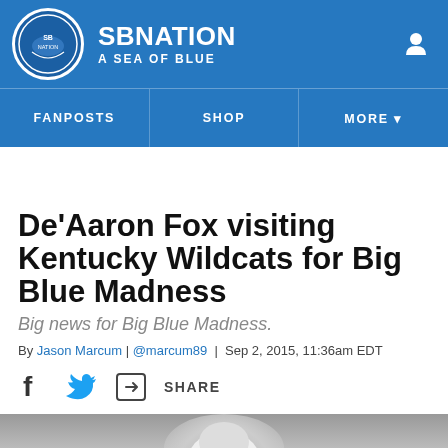SB NATION | A SEA OF BLUE
FANPOSTS | SHOP | MORE
De'Aaron Fox visiting Kentucky Wildcats for Big Blue Madness
Big news for Big Blue Madness.
By Jason Marcum | @marcum89 | Sep 2, 2015, 11:36am EDT
[Figure (other): Social share icons: Facebook, Twitter, and share button]
[Figure (photo): Photo of De'Aaron Fox, partially visible at the bottom of the page]